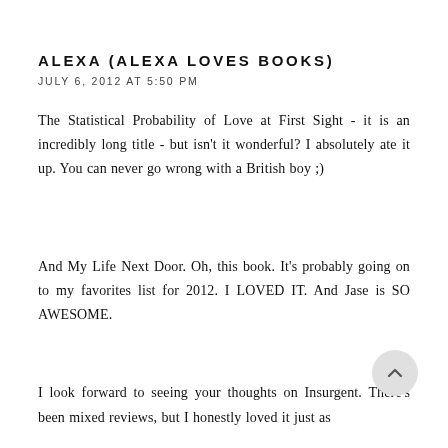ALEXA (ALEXA LOVES BOOKS)
JULY 6, 2012 AT 5:50 PM
The Statistical Probability of Love at First Sight - it is an incredibly long title - but isn't it wonderful? I absolutely ate it up. You can never go wrong with a British boy ;)
And My Life Next Door. Oh, this book. It's probably going on to my favorites list for 2012. I LOVED IT. And Jase is SO AWESOME.
I look forward to seeing your thoughts on Insurgent. There's been mixed reviews, but I honestly loved it just as